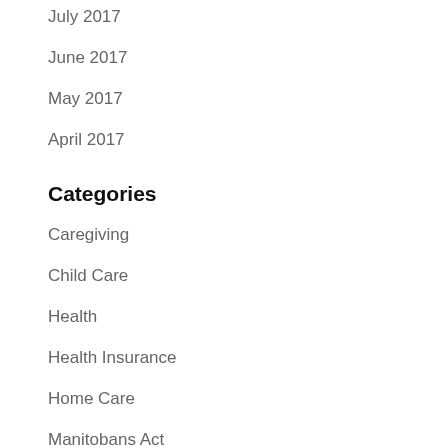July 2017
June 2017
May 2017
April 2017
Categories
Caregiving
Child Care
Health
Health Insurance
Home Care
Manitobans Act
Person With Disability
Private Care
Senior Care